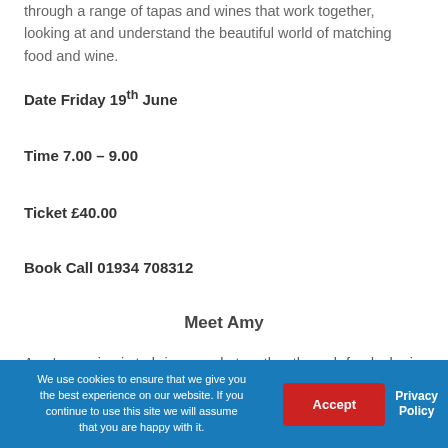through a range of tapas and wines that work together, looking at and understand the beautiful world of matching food and wine.
Date Friday 19th June
Time 7.00 – 9.00
Ticket £40.00
Book Call 01934 708312
Meet Amy
Amy's passion is to bring people together through food; she is a self-confessed 'deliverer' of hopes and wishes and her love
We use cookies to ensure that we give you the best experience on our website. If you continue to use this site we will assume that you are happy with it.